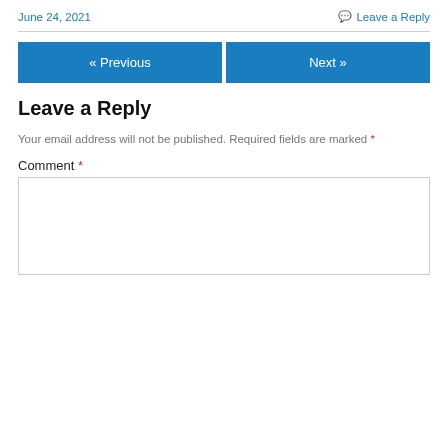June 24, 2021
Leave a Reply
« Previous
Next »
Leave a Reply
Your email address will not be published. Required fields are marked *
Comment *